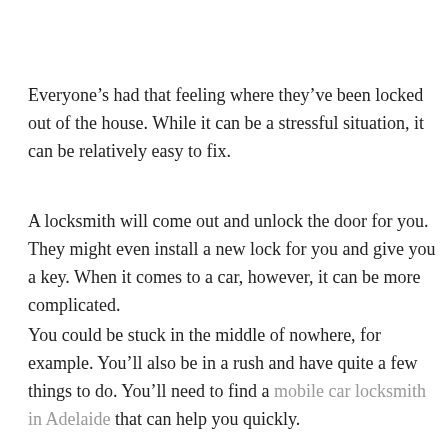Everyone's had that feeling where they've been locked out of the house. While it can be a stressful situation, it can be relatively easy to fix.
A locksmith will come out and unlock the door for you. They might even install a new lock for you and give you a key. When it comes to a car, however, it can be more complicated.
You could be stuck in the middle of nowhere, for example. You'll also be in a rush and have quite a few things to do. You'll need to find a mobile car locksmith in Adelaide that can help you quickly.
When most people are locked out of their cars, they typically choose the first result that comes up online. While that's understandable, you mightn't want to go with that choice